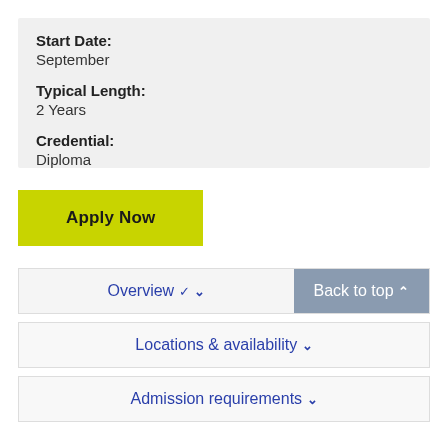Start Date:
September
Typical Length:
2 Years
Credential:
Diploma
Apply Now
Overview ∨   Back to top ∧
Locations & availability ∨
Admission requirements ∨